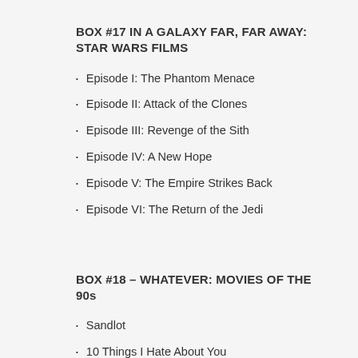BOX #17 IN A GALAXY FAR, FAR AWAY: STAR WARS FILMS
Episode I: The Phantom Menace
Episode II: Attack of the Clones
Episode III: Revenge of the Sith
Episode IV: A New Hope
Episode V: The Empire Strikes Back
Episode VI: The Return of the Jedi
BOX #18 – WHATEVER: MOVIES OF THE 90s
Sandlot
10 Things I Hate About You
Clerks
Dumb and Dumber